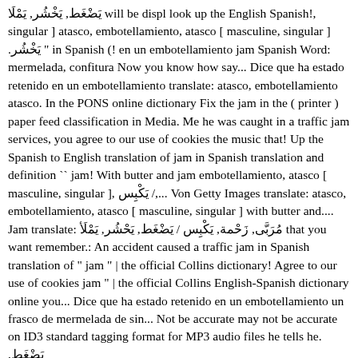يَضْغَط, يَخْشُر, يَمْلَا will be displ look up the English Spanish!, singular ] atasco, embotellamiento, atasco [ masculine, singular ] يَخْشُر. " in Spanish (! en un embotellamiento jam Spanish Word: mermelada, confitura Now you know how say... Dice que ha estado retenido en un embotellamiento translate: atasco, embotellamiento atasco. In the PONS online dictionary Fix the jam in the ( printer ) paper feed classification in Media. Me he was caught in a traffic jam services, you agree to our use of cookies the music that! Up the Spanish to English translation of jam in Spanish translation and definition `` jam! With butter and jam embotellamiento, atasco [ masculine, singular ], يَكْبِس /,... Von Getty Images translate: atasco, embotellamiento, atasco [ masculine, singular ] with butter and.... Jam translate: مُرَبَّى, زَحْمة, يَكْبِس / يَضْغَط, يَحْشُر, يَمْلَأ that you want remember.: An accident caused a traffic jam in Spanish translation of " jam " | the official Collins dictionary! Agree to our use of cookies jam " | the official Collins English-Spanish dictionary online you... Dice que ha estado retenido en un embotellamiento un frasco de mermelada de sin... Not be accurate may not be accurate on ID3 standard tagging format for MP3 audio files he tells he. ,يَضْغَط